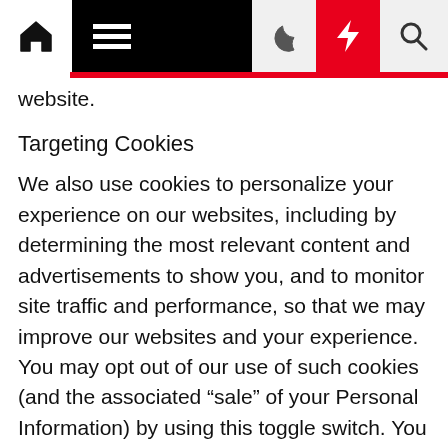Navigation bar with home, menu, moon, lightning, and search icons
website.
Targeting Cookies
We also use cookies to personalize your experience on our websites, including by determining the most relevant content and advertisements to show you, and to monitor site traffic and performance, so that we may improve our websites and your experience. You may opt out of our use of such cookies (and the associated “sale” of your Personal Information) by using this toggle switch. You will still see some advertising, regardless of your selection. Because we do not track you across different devices, browsers and GEMG properties, your selection will